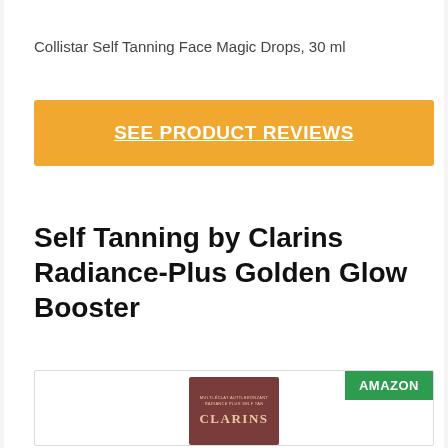Collistar Self Tanning Face Magic Drops, 30 ml
SEE PRODUCT REVIEWS
Self Tanning by Clarins Radiance-Plus Golden Glow Booster
[Figure (photo): Clarins Radiance-Plus Golden Glow Booster product box shown in a product card with an Amazon badge in the top right corner. Box is dark reddish-brown color with gold text reading CLARINS.]